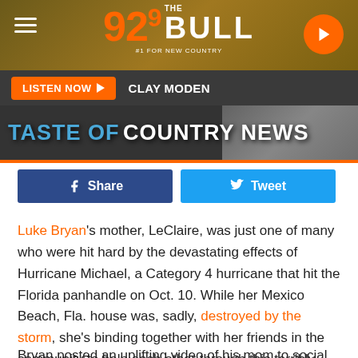[Figure (screenshot): 92.9 The Bull radio station header banner with logo, hamburger menu, and play button]
LISTEN NOW ▶  CLAY MODEN
[Figure (screenshot): TASTE OF COUNTRY NEWS banner image]
[Figure (screenshot): Share and Tweet social media buttons]
Luke Bryan's mother, LeClaire, was just one of many who were hit hard by the devastating effects of Hurricane Michael, a Category 4 hurricane that hit the Florida panhandle on Oct. 10. While her Mexico Beach, Fla. house was, sadly, destroyed by the storm, she's binding together with her friends in the community to help each other through this terribly difficult time.
Bryan posted an uplifting video of his mom to social media,